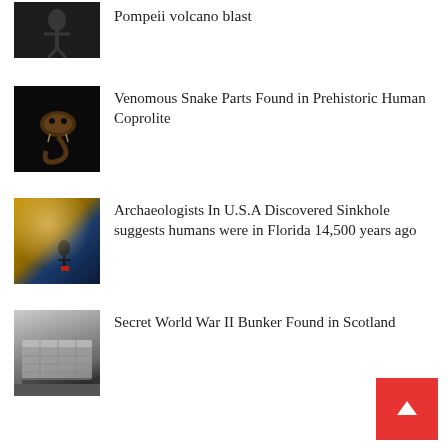Pompeii volcano blast
[Figure (photo): Dark image of a skeleton or figure related to Pompeii volcano]
Venomous Snake Parts Found in Prehistoric Human Coprolite
[Figure (photo): Close-up of a snake skull/head on dark background]
Archaeologists In U.S.A Discovered Sinkhole suggests humans were in Florida 14,500 years ago
[Figure (photo): Underwater sinkhole scene with diver and golden light]
Secret World War II Bunker Found in Scotland
[Figure (photo): 3D render or model of a WWII bunker structure]